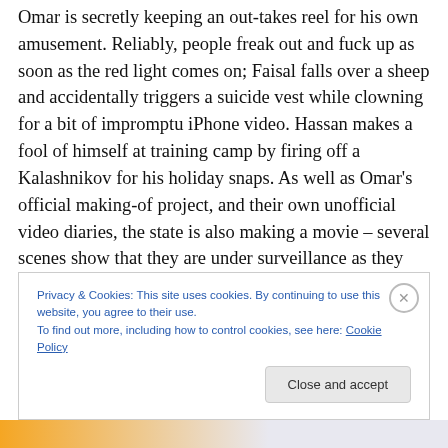Omar is secretly keeping an out-takes reel for his own amusement. Reliably, people freak out and fuck up as soon as the red light comes on; Faisal falls over a sheep and accidentally triggers a suicide vest while clowning for a bit of impromptu iPhone video. Hassan makes a fool of himself at training camp by firing off a Kalashnikov for his holiday snaps. As well as Omar's official making-of project, and their own unofficial video diaries, the state is also making a movie – several scenes show that they are under surveillance as they carry out a test explosion. But it's a blooper in itself, a sight gag; the cops raid the wrong
Privacy & Cookies: This site uses cookies. By continuing to use this website, you agree to their use.
To find out more, including how to control cookies, see here: Cookie Policy